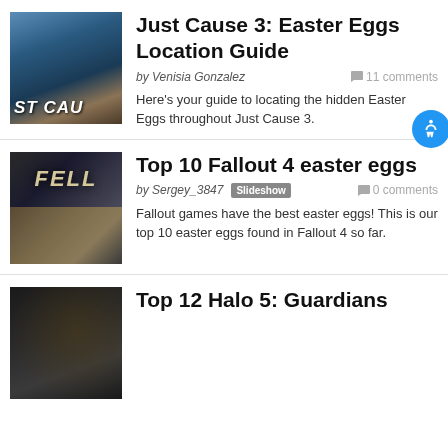[Figure (screenshot): Just Cause 3 game thumbnail with text ST CAUS overlay]
Just Cause 3: Easter Eggs Location Guide
by Venisia Gonzalez   11 comments
Here’s your guide to locating the hidden Easter Eggs throughout Just Cause 3.
[Figure (screenshot): Fallout 4 game thumbnail split into two images]
Top 10 Fallout 4 easter eggs
by Sergey_3847   Slideshow   0 comments
Fallout games have the best easter eggs! This is our top 10 easter eggs found in Fallout 4 so far.
[Figure (screenshot): Halo 5: Guardians game thumbnail, dark scene]
Top 12 Halo 5: Guardians